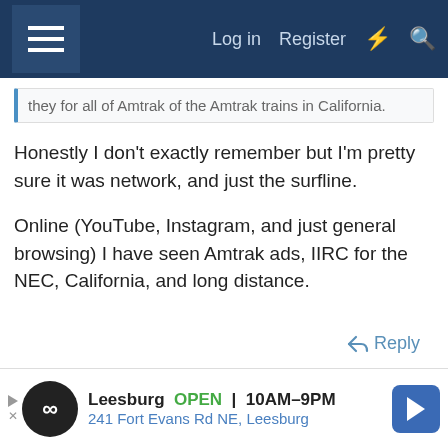Log in  Register
they for all of Amtrak of the Amtrak trains in California.
Honestly I don't exactly remember but I'm pretty sure it was network, and just the surfline.

Online (YouTube, Instagram, and just general browsing) I have seen Amtrak ads, IIRC for the NEC, California, and long distance.
↩ Reply
Leesburg  OPEN  10AM–9PM  241 Fort Evans Rd NE, Leesburg